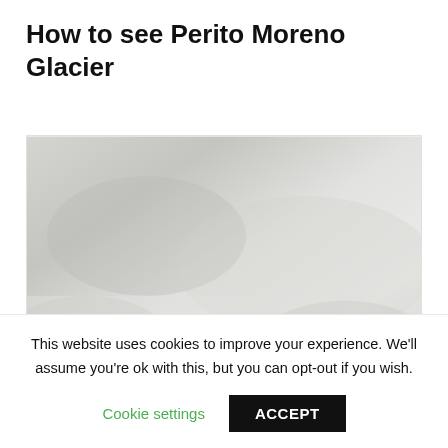How to see Perito Moreno Glacier
[Figure (photo): A blurred or loading image related to Perito Moreno Glacier, shown as a large faded grey-green placeholder image area.]
This website uses cookies to improve your experience. We'll assume you're ok with this, but you can opt-out if you wish.
Cookie settings
ACCEPT